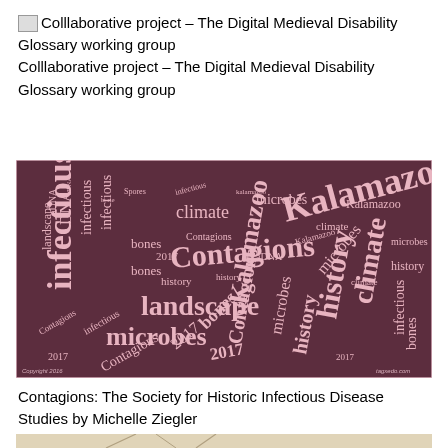Colllaborative project – The Digital Medieval Disability Glossary working group
Colllaborative project – The Digital Medieval Disability Glossary working group
[Figure (infographic): Word cloud with dark maroon/brown background and pink text showing repeated words: Kalamazoo, Contagions, infectious, microbes, landscape, history, climate, bones, DNA, aDNA, 2017, arranged in various sizes and orientations. Copyright 2016 tagxedo.com]
Contagions: The Society for Historic Infectious Disease Studies by Michelle Ziegler
[Figure (illustration): Partial view of an illustration at the bottom of the page (cut off)]